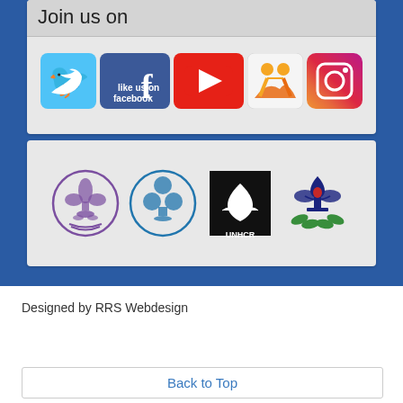Join us on
[Figure (logo): Social media icons: Twitter (blue bird), Facebook (like us on facebook), YouTube (red play button), Scouts/Activity (yellow figures), Instagram (gradient camera)]
[Figure (logo): Organization logos: World Association of Girl Guides and Girl Scouts (purple fleur-de-lis circle), World Organization of the Scout Movement (blue trefoil circle), UNHCR (black box with refugee symbol), fourth scouting organization logo (blue/red fleur-de-lis with flowers)]
Designed by RRS Webdesign
Back to Top